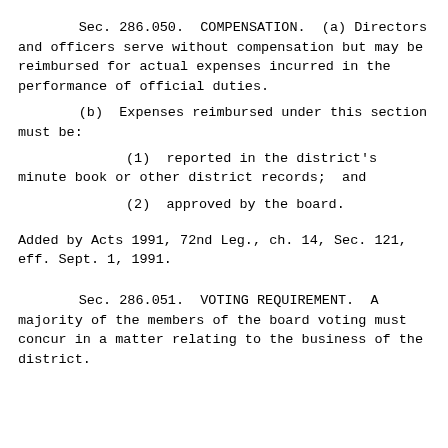Sec. 286.050.  COMPENSATION.  (a) Directors and officers serve without compensation but may be reimbursed for actual expenses incurred in the performance of official duties.
        (b)  Expenses reimbursed under this section must be:
                (1)  reported in the district's minute book or other district records;  and
                (2)  approved by the board.

Added by Acts 1991, 72nd Leg., ch. 14, Sec. 121, eff. Sept. 1, 1991.
Sec. 286.051.  VOTING REQUIREMENT.  A majority of the members of the board voting must concur in a matter relating to the business of the district.